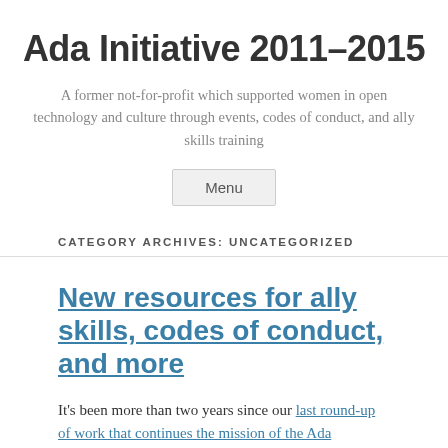Ada Initiative 2011–2015
A former not-for-profit which supported women in open technology and culture through events, codes of conduct, and ally skills training
Menu
CATEGORY ARCHIVES: UNCATEGORIZED
New resources for ally skills, codes of conduct, and more
It's been more than two years since our last round-up of work that continues the mission of the Ada Initiative. If you